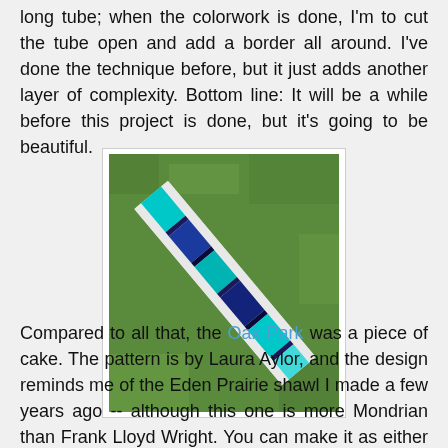And then, too, the directions call for knitting the shawl in a long tube; when the colorwork is done, I'm to cut the tube open and add a border all around. I've done the technique before, but it just adds another layer of complexity. Bottom line: It will be a while before this project is done, but it's going to be beautiful.
[Figure (photo): A knitted item with blue, teal, and white colorwork pattern laid diagonally on grass]
Compared to all that, the Oak Park was a piece of cake. The pattern is by Laura Aylor, and the design reminds me of the Eden Prairie shawl I made a few years ago -- although this one is more Mondrian than Frank Lloyd Wright. You can make it as either a scarf or a cowl; I opted for the cowl. It turned out well, as you can see, but it's wider than the other